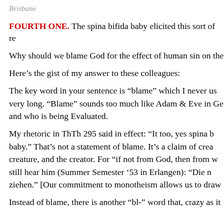Brisbane
FOURTH ONE. The spina bifida baby elicited this sort of re
Why should we blame God for the effect of human sin on the
Here’s the gist of my answer to these colleagues:
The key word in your sentence is “blame” which I never us very long. “Blame” sounds too much like Adam & Eve in Ge and who is being Evaluated.
My rhetoric in ThTh 295 said in effect: “It too, yes spina b baby.” That’s not a statement of blame. It’s a claim of crea creature, and the creator. For “if not from God, then from w still hear him (Summer Semester ’53 in Erlangen): “Die n ziehen.” [Our commitment to monotheism allows us to draw
Instead of blame, there is another “bl-” word that, crazy as it